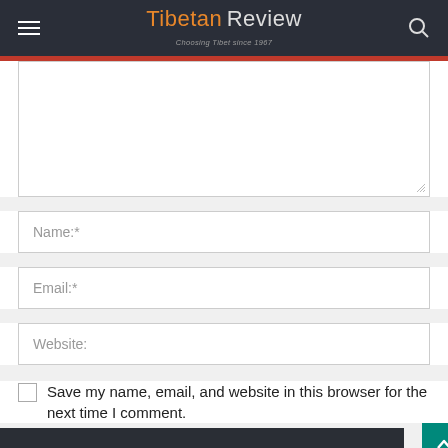Tibetan Review — Choosing Tibet since 1967
[Figure (screenshot): Comment form textarea field, empty, with resize handle]
Name:*
Email:*
Website:
Save my name, email, and website in this browser for the next time I comment.